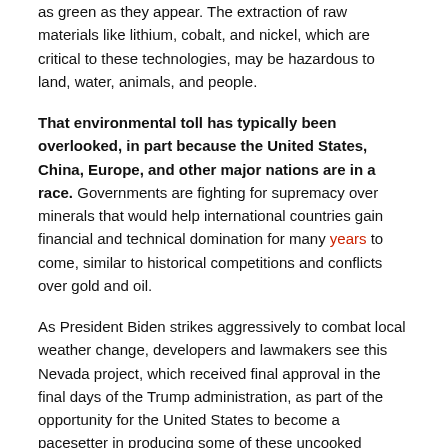as green as they appear. The extraction of raw materials like lithium, cobalt, and nickel, which are critical to these technologies, may be hazardous to land, water, animals, and people.
That environmental toll has typically been overlooked, in part because the United States, China, Europe, and other major nations are in a race. Governments are fighting for supremacy over minerals that would help international countries gain financial and technical domination for many years to come, similar to historical competitions and conflicts over gold and oil.
As President Biden strikes aggressively to combat local weather change, developers and lawmakers see this Nevada project, which received final approval in the final days of the Trump administration, as part of the opportunity for the United States to become a pacesetter in producing some of these uncooked supplies. Companies have proposed lithium production locations in California, Oregon, Tennessee, Arkansas, North Carolina, and Nevada.
On the other hand, traditional mining is one of the